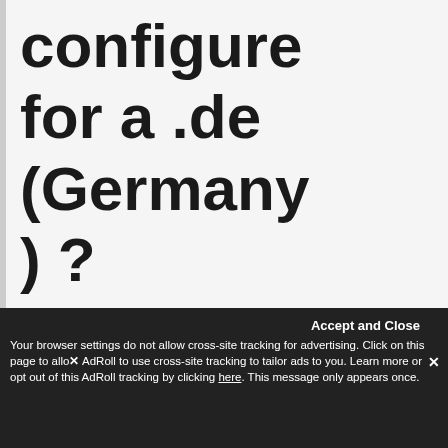configure for a .de (Germany) ?
Reply
Accept and Close
Your browser settings do not allow cross-site tracking for advertising. Click on this page to allow AdRoll to use cross-site tracking to tailor ads to you. Learn more or opt out of this AdRoll tracking by clicking here. This message only appears once.